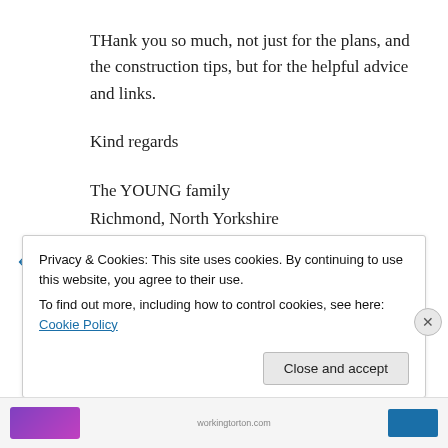THank you so much, not just for the plans, and the construction tips, but for the helpful advice and links.
Kind regards
The YOUNG family
Richmond, North Yorkshire
↵ Reply
Privacy & Cookies: This site uses cookies. By continuing to use this website, you agree to their use.
To find out more, including how to control cookies, see here: Cookie Policy
Close and accept